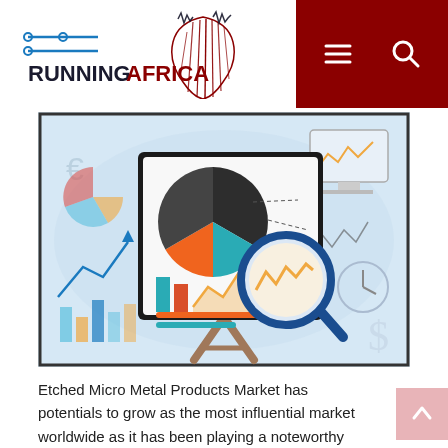RUNNINGAFRICA
[Figure (illustration): Market research illustration showing a presentation board with pie chart, bar chart, and magnifying glass over a line chart, surrounded by financial icons including currency symbols, graphs, and a dollar sign, on a light blue background.]
Etched Micro Metal Products Market has potentials to grow as the most influential market worldwide as it has been playing a noteworthy role in imprinting positive impacts on the international economy. The Etched Micro Metal Products Market Report offers vital insights to